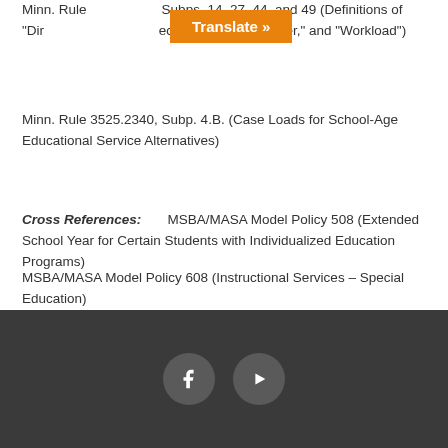Minn. Rule [...] Subps. 14, 27, 44, and 49 (Definitions of "Dir[ect...] ect Services," "Teacher," and "Workload")
Minn. Rule 3525.2340, Subp. 4.B. (Case Loads for School-Age Educational Service Alternatives)
Cross References: MSBA/MASA Model Policy 508 (Extended School Year for Certain Students with Individualized Education Programs)
MSBA/MASA Model Policy 608 (Instructional Services – Special Education)
[Figure (other): Footer bar with Facebook and YouTube social media icons on dark gray background]